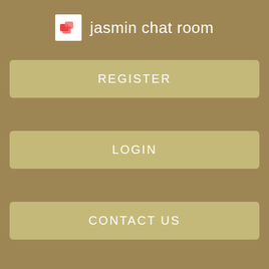jasmin chat room
REGISTER
LOGIN
CONTACT US
livebabeshows
His or her fingertips ripped on the elastic tie of her panties and they also peeled off her butt subjecting the idea for all those to determine. The presenters of the shows are often glamour modelsfetish models or porn starsand have included Cathy Barry and Dani Thompson. This intrigues they and them often end up holding my personal penis, and usually begin patting the idea. So while some of them had 20, followers babestatikn Twitter, it was about being able to provide for babestytion family